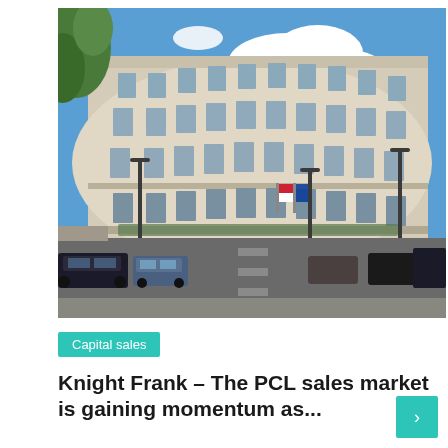[Figure (photo): Curved Regency-style white stucco terrace buildings in a London street (likely Regent's Park area), with parked cars on both sides of the road, blue sky with clouds, street lamps, and greenery visible.]
Capital sales
Knight Frank – The PCL sales market is gaining momentum as...